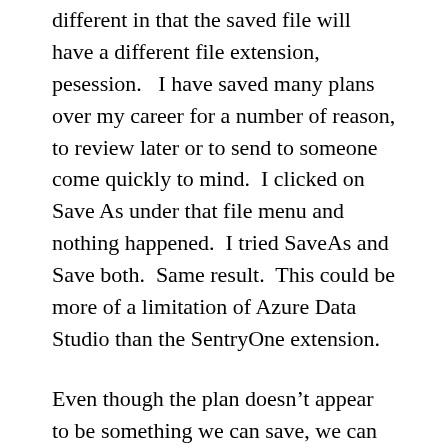different in that the saved file will have a different file extension, pesession.   I have saved many plans over my career for a number of reason, to review later or to send to someone come quickly to mind.  I clicked on Save As under that file menu and nothing happened.  I tried SaveAs and Save both.  Same result.  This could be more of a limitation of Azure Data Studio than the SentryOne extension.
Even though the plan doesn't appear to be something we can save, we can click on the “View XML” link and then save the XML.  Then find the file and change the extension to .sqlplan.  It can then be opened up in either SSMS, SentryOne Plan Explorer or Azure Data Studio.  I like that we have three options to view a plan.  Each has it’s pros and cons.  My plan is to use Azure Data Studio and the SentryOne extension because it keeps me in one application rather than two.